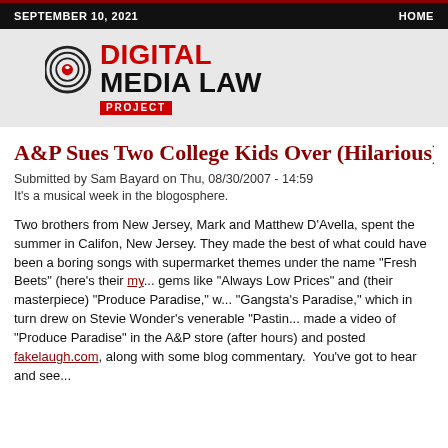SEPTEMBER 10, 2021   HOME
[Figure (logo): Digital Media Law Project logo — circular signal/sound wave icon in black and red, with text DIGITAL MEDIA LAW in black and red, and PROJECT in white on red badge]
A&P Sues Two College Kids Over (Hilarious) "P..."
Submitted by Sam Bayard on Thu, 08/30/2007 - 14:59
It's a musical week in the blogosphere.
Two brothers from New Jersey, Mark and Matthew D'Avella, spent the summer in Califon, New Jersey. They made the best of what could have been a boring summer by writing songs with supermarket themes under the name "Fresh Beets" (here's their my...) gems like "Always Low Prices" and (their masterpiece) "Produce Paradise," w... "Gangsta's Paradise," which in turn drew on Stevie Wonder's venerable "Pasti... made a video of "Produce Paradise" in the A&P store (after hours) and posted fakelaugh.com, along with some blog commentary.  You've got to hear and see...